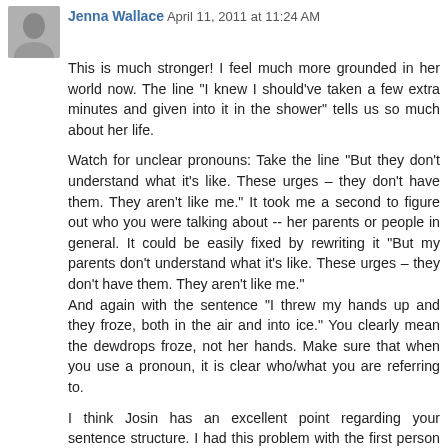Jenna Wallace April 11, 2011 at 11:24 AM
This is much stronger! I feel much more grounded in her world now. The line "I knew I should've taken a few extra minutes and given into it in the shower" tells us so much about her life.
Watch for unclear pronouns: Take the line "But they don't understand what it's like. These urges – they don't have them. They aren't like me." It took me a second to figure out who you were talking about -- her parents or people in general. It could be easily fixed by rewriting it "But my parents don't understand what it's like. These urges – they don't have them. They aren't like me."
And again with the sentence "I threw my hands up and they froze, both in the air and into ice." You clearly mean the dewdrops froze, not her hands. Make sure that when you use a pronoun, it is clear who/what you are referring to.
I think Josin has an excellent point regarding your sentence structure. I had this problem with the first person in an earlier WIP(actually, an agent called me out on this -- yikes!). I called it the "I blanked" syndrome (I walked, I looked, I tried) and once you become aware of it...